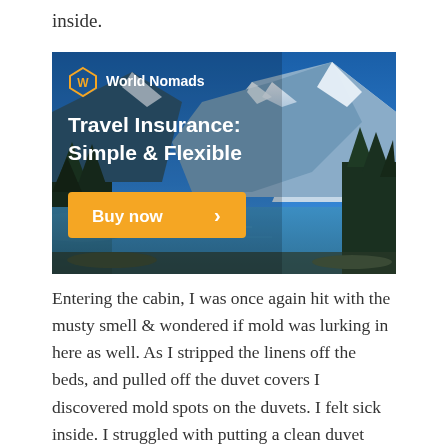inside.
[Figure (infographic): World Nomads Travel Insurance advertisement banner showing a mountain lake landscape (Moraine Lake style) with blue sky and snow-capped peaks. Contains World Nomads logo, text 'Travel Insurance: Simple & Flexible', and an orange 'Buy now' button with a right chevron arrow.]
Entering the cabin, I was once again hit with the musty smell & wondered if mold was lurking in here as well. As I stripped the linens off the beds, and pulled off the duvet covers I discovered mold spots on the duvets. I felt sick inside. I struggled with putting a clean duvet cover over a duvet covered in mold